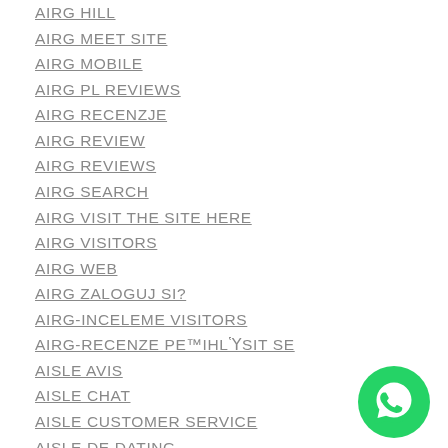AIRG HILL
AIRG MEET SITE
AIRG MOBILE
AIRG PL REVIEWS
AIRG RECENZJE
AIRG REVIEW
AIRG REVIEWS
AIRG SEARCH
AIRG VISIT THE SITE HERE
AIRG VISITORS
AIRG WEB
AIRG ZALOGUJ SI?
AIRG-INCELEME VISITORS
AIRG-RECENZE PЕ™IHLГŸSIT SE
AISLE AVIS
AISLE CHAT
AISLE CUSTOMER SERVICE
AISLE DE DATING
AISLE DISCUTER
AISLE IT REVIEW
AISLE KOSTEN
AISLE LOGIN